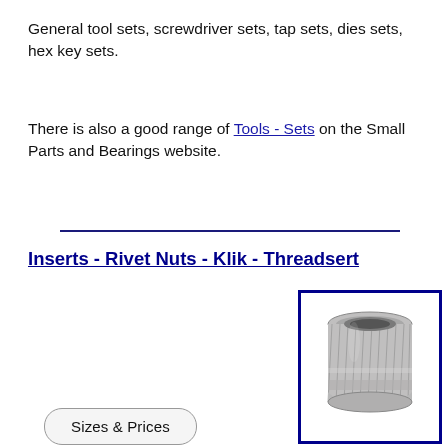General tool sets, screwdriver sets, tap sets, dies sets, hex key sets.
There is also a good range of Tools - Sets on the Small Parts and Bearings website.
Inserts - Rivet Nuts - Klik - Threadsert
[Figure (photo): A metallic rivet nut / threadsert insert, cylindrical with knurled exterior, shown in silver/steel finish]
Sizes & Prices